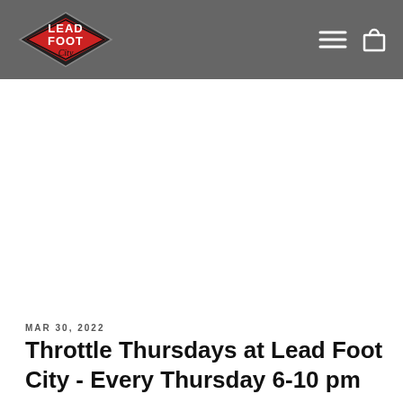Lead Foot City
MAR 30, 2022
Throttle Thursdays at Lead Foot City - Every Thursday 6-10 pm